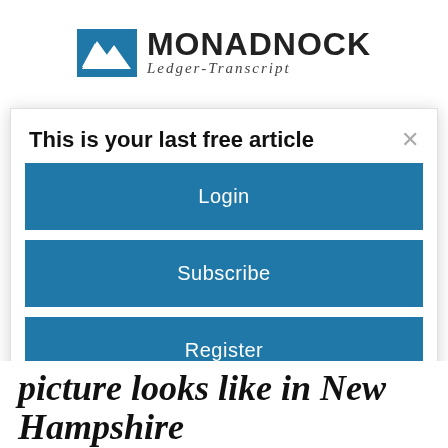MONADNOCK Ledger-Transcript
This is your last free article
Login
Subscribe
Register
picture looks like in New Hampshire